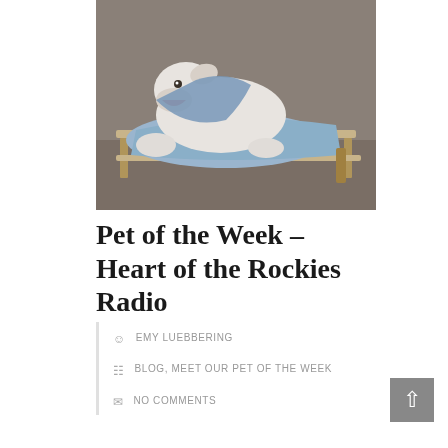[Figure (photo): A white dog wearing a blue bandana or shirt lying on a raised dog cot/bed outdoors on pavement]
Pet of the Week – Heart of the Rockies Radio
EMY LUEBBERING
BLOG, MEET OUR PET OF THE WEEK
NO COMMENTS